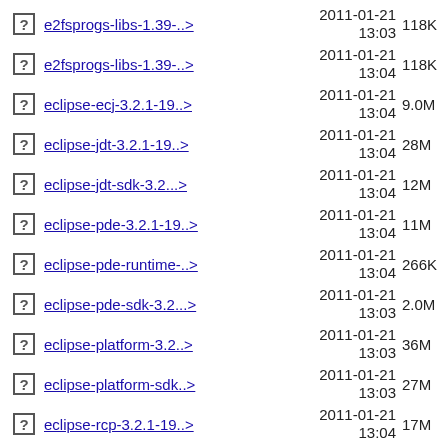e2fsprogs-libs-1.39-..> 2011-01-21 13:03 118K
e2fsprogs-libs-1.39-..> 2011-01-21 13:04 118K
eclipse-ecj-3.2.1-19..> 2011-01-21 13:04 9.0M
eclipse-jdt-3.2.1-19..> 2011-01-21 13:04 28M
eclipse-jdt-sdk-3.2...> 2011-01-21 13:04 12M
eclipse-pde-3.2.1-19..> 2011-01-21 13:04 11M
eclipse-pde-runtime-..> 2011-01-21 13:04 266K
eclipse-pde-sdk-3.2...> 2011-01-21 13:03 2.0M
eclipse-platform-3.2..> 2011-01-21 13:03 36M
eclipse-platform-sdk..> 2011-01-21 13:03 27M
eclipse-rcp-3.2.1-19..> 2011-01-21 13:04 17M
eclipse-... 2011-01-21